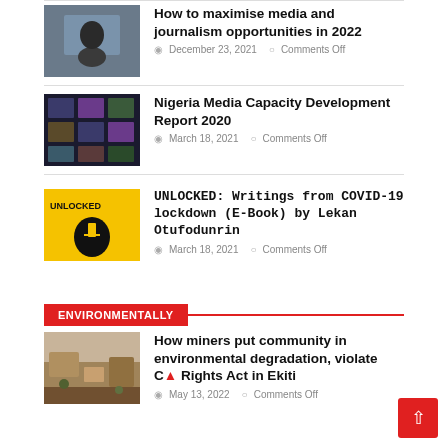[Figure (photo): Person from behind working at a laptop]
How to maximise media and journalism opportunities in 2022
December 23, 2021   Comments Off
[Figure (photo): Video conference grid on dark screen]
Nigeria Media Capacity Development Report 2020
March 18, 2021   Comments Off
[Figure (photo): UNLOCKED book cover – yellow with silhouette head]
UNLOCKED: Writings from COVID-19 lockdown (E-Book) by Lekan Otufodunrin
March 18, 2021   Comments Off
ENVIRONMENTALLY
[Figure (photo): Mining site showing degraded rocky land]
How miners put community in environmental degradation, violate Community Rights Act in Ekiti
May 13, 2022   Comments Off